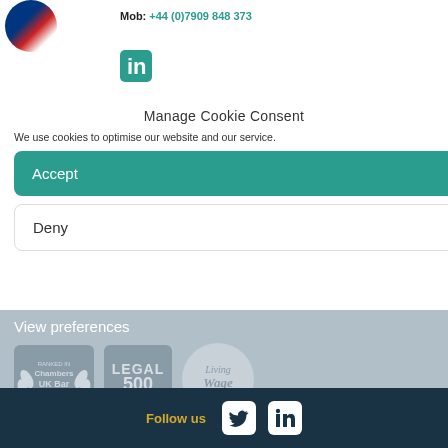Mob: +44 (0)7909 848 373
[Figure (logo): LinkedIn icon (teal/blue square with 'in' logo)]
Manage Cookie Consent
Nadia Carby
Practice Manager
We use cookies to optimise our website and our service.
nadia.carby@gatehouselaw.co.uk
Tel: +44 (0)20 7400 2157
Accept
Deny
View preferences
[Figure (logo): Ranked in Chambers UK Bar — Gatehouse Chambers logo]
[Figure (logo): Legal 500 Leading Set 2021 logo]
[Figure (logo): Living Wage Foundation logo]
Save preferences
Follow us
[Figure (logo): Twitter icon (white bird on white rounded square)]
[Figure (logo): LinkedIn icon (white 'in' on white rounded square)]